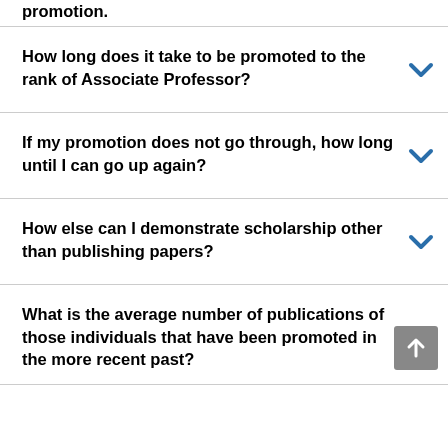promotion.
How long does it take to be promoted to the rank of Associate Professor?
If my promotion does not go through, how long until I can go up again?
How else can I demonstrate scholarship other than publishing papers?
What is the average number of publications of those individuals that have been promoted in the more recent past?